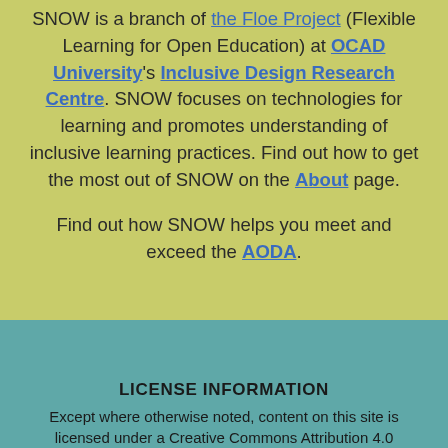SNOW is a branch of the Floe Project (Flexible Learning for Open Education) at OCAD University's Inclusive Design Research Centre. SNOW focuses on technologies for learning and promotes understanding of inclusive learning practices. Find out how to get the most out of SNOW on the About page.

Find out how SNOW helps you meet and exceed the AODA.
LICENSE INFORMATION
Except where otherwise noted, content on this site is licensed under a Creative Commons Attribution 4.0